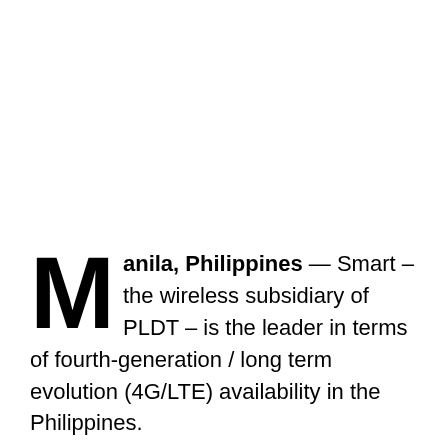Manila, Philippines — Smart – the wireless subsidiary of PLDT – is the leader in terms of fourth-generation / long term evolution (4G/LTE) availability in the Philippines.
It is according to Opensignal, an independent analytics firm, as reported by the Philippine News Agency (PNA).